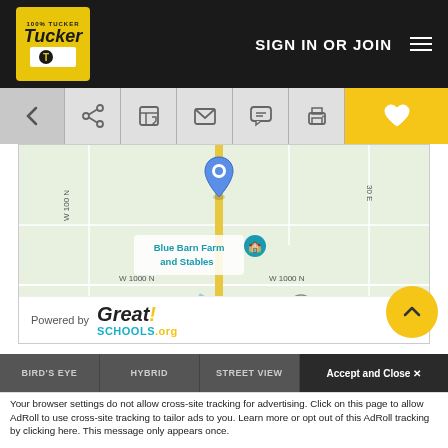SIGN IN OR JOIN
[Figure (map): Google Map showing Blue Barn Farm and Stables location, with road grid including W 100 N, W 1000 N, road 30 E, and state route 9. Blue map pin marks the property location. Map data ©2022.]
Powered by GreatSchools.org
BIRD'S EYE  HYBRID  STREET VIEW  Accept and Close ✕
Your browser settings do not allow cross-site tracking for advertising. Click on this page to allow AdRoll to use cross-site tracking to tailor ads to you. Learn more or opt out of this AdRoll tracking by clicking here. This message only appears once.